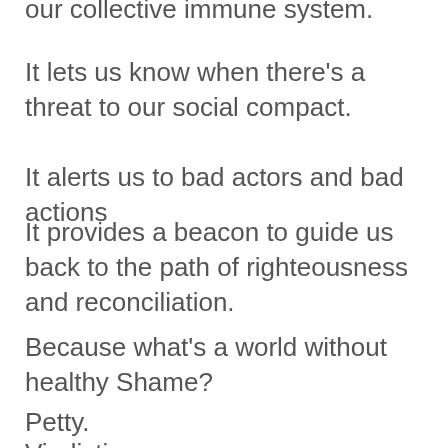our collective immune system.
It lets us know when there's a threat to our social compact.
It alerts us to bad actors and bad actions
It provides a beacon to guide us back to the path of righteousness and reconciliation.
Because what's a world without healthy Shame?
Petty.
Vindictive